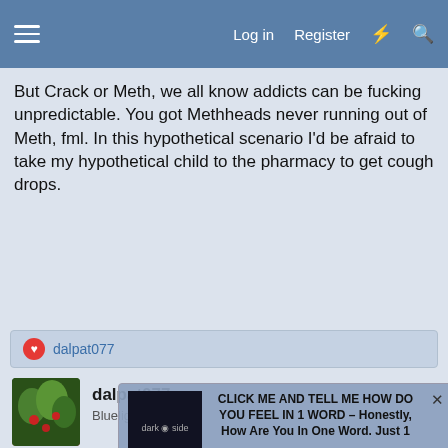Log in | Register
But Crack or Meth, we all know addicts can be fucking unpredictable. You got Methheads never running out of Meth, fml. In this hypothetical scenario I'd be afraid to take my hypothetical child to the pharmacy to get cough drops.
dalpat077
dalpat077
Bluelighter
Feb 9, 2021    #170
December Flower said:
I mean I can somehow understand the legalisation of Heroin. It's basically already given the form of CO- of other opiates. Also I don't think the would be much of a problem to handle as long as they're getting heroin, and we certainly have a surplus of opioid production in medicine. This is basically already being done,